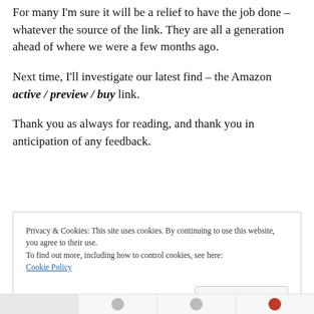For many I'm sure it will be a relief to have the job done – whatever the source of the link. They are all a generation ahead of where we were a few months ago.
Next time, I'll investigate our latest find – the Amazon active / preview / buy link.
Thank you as always for reading, and thank you in anticipation of any feedback.
Privacy & Cookies: This site uses cookies. By continuing to use this website, you agree to their use. To find out more, including how to control cookies, see here: Cookie Policy
Close and accept